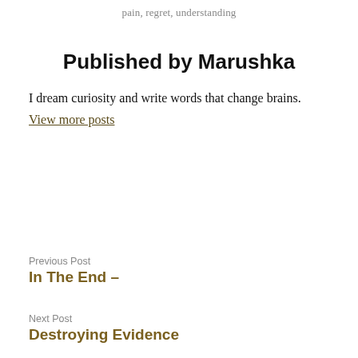pain, regret, understanding
Published by Marushka
I dream curiosity and write words that change brains.
View more posts
Previous Post
In The End –
Next Post
Destroying Evidence